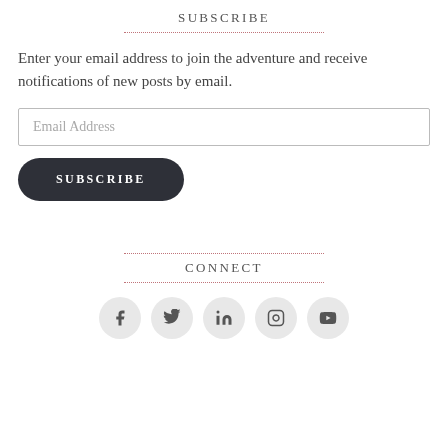SUBSCRIBE
Enter your email address to join the adventure and receive notifications of new posts by email.
Email Address
SUBSCRIBE
CONNECT
[Figure (other): Social media icons row: Facebook, Twitter, LinkedIn, Instagram, YouTube]